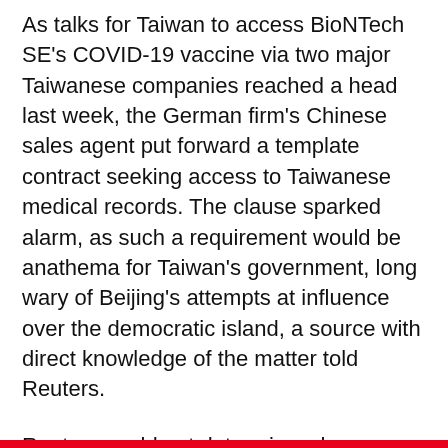As talks for Taiwan to access BioNTech SE's COVID-19 vaccine via two major Taiwanese companies reached a head last week, the German firm's Chinese sales agent put forward a template contract seeking access to Taiwanese medical records. The clause sparked alarm, as such a requirement would be anathema for Taiwan's government, long wary of Beijing's attempts at influence over the democratic island, a source with direct knowledge of the matter told Reuters.
Reuters could not determine why Shanghai Fosun Pharmaceutical Group Co Ltd sent the template, and the company did not respond to requests for comment. But the incident highlights how politics became entangled with a public health issue, laying bare wider disagreements between the governments of China and Taiwan.